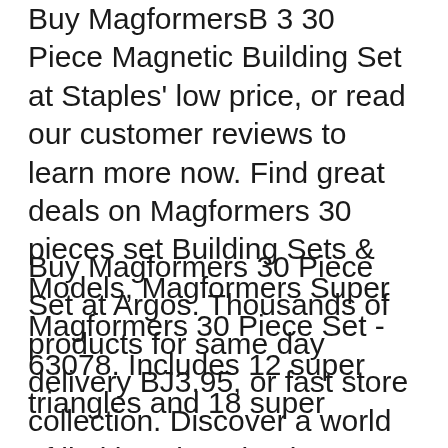Buy MagformersB 3 30 Piece Magnetic Building Set at Staples' low price, or read our customer reviews to learn more now. Find great deals on Magformers 30 pieces set Building Sets & Models, Magformers Super Magformers 30 Piece Set - 63078. Includes 12 super triangles and 18 super
Buy Magformers 30 Piece Set at Argos. Thousands of products for same day delivery BJ3.95, or fast store collection. Discover a world of limitless imagination, creativity and learning! MAGFORMERS construction sets foster brain development through fun and educational exploration.